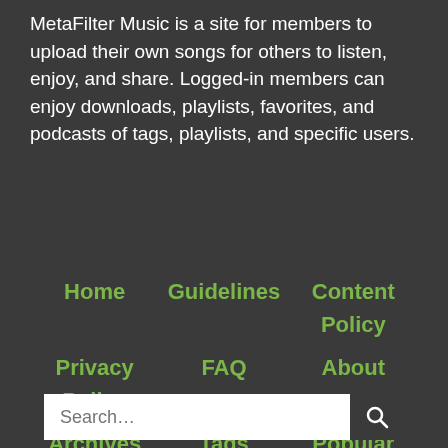MetaFilter Music is a site for members to upload their own songs for others to listen, enjoy, and share. Logged-in members can enjoy downloads, playlists, favorites, and podcasts of tags, playlists, and specific users.
Home
Guidelines
Content Policy
Privacy Policy
FAQ
About
Archives
Tags
Popular
Random
BIPOC Board
Wiki
Search
Chat
Labs